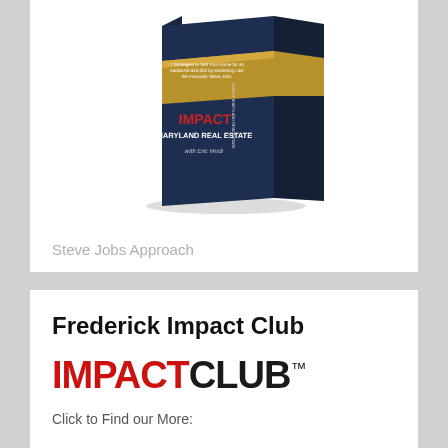[Figure (photo): A dark navy hardcover book with gold band and red/white text reading 'IMPACT MARYLAND REAL ESTATE with Eric Verdi' and subtitle '7 Strategies to Sell Your Home for an Additional $10,000 by Marketing Like the Innovator Steve Jobs']
Steve Jobs Approach
Frederick Impact Club
[Figure (logo): IMPACTCLUB trademark logo with IMPACT in red bold and CLUB in dark/black bold followed by TM superscript]
Click to Find our More: